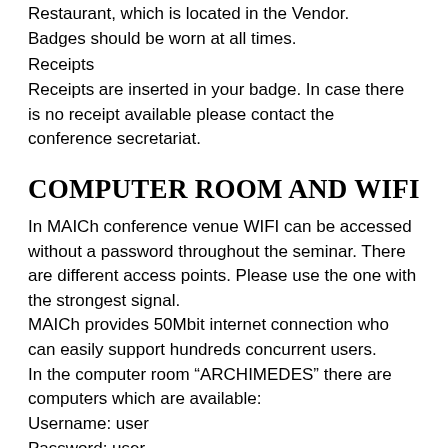Restaurant, which is located in the Vendor. Badges should be worn at all times.
Receipts
Receipts are inserted in your badge. In case there is no receipt available please contact the conference secretariat.
Computer room and WiFi
In MAICh conference venue WIFI can be accessed without a password throughout the seminar. There are different access points. Please use the one with the strongest signal.
MAICh provides 50Mbit internet connection who can easily support hundreds concurrent users.
In the computer room “ARCHIMEDES” there are computers which are available:
Username: user
Password: user